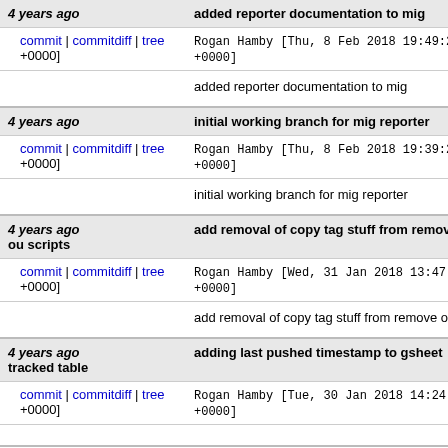| Age / Links | Commit info |
| --- | --- |
| 4 years ago | added reporter documentation to mig |
| commit | commitdiff | tree | Rogan Hamby [Thu, 8 Feb 2018 19:49:25 +0000] |
|  | added reporter documentation to mig |
| 4 years ago | initial working branch for mig reporter |
| commit | commitdiff | tree | Rogan Hamby [Thu, 8 Feb 2018 19:39:22 +0000] |
|  | initial working branch for mig reporter |
| 4 years ago ou scripts | add removal of copy tag stuff from remove |
| commit | commitdiff | tree | Rogan Hamby [Wed, 31 Jan 2018 13:47:22 +0000] |
|  | add removal of copy tag stuff from remove ou scri |
| 4 years ago tracked table | adding last pushed timestamp to gsheet |
| commit | commitdiff | tree | Rogan Hamby [Tue, 30 Jan 2018 14:24:58 +0000] |
|  | adding last pushed timestamp to gsheet tracked table |